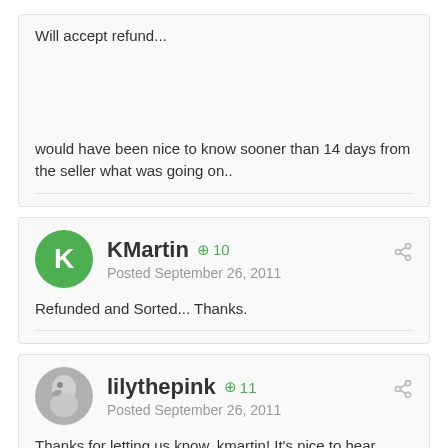Will accept refund...
would have been nice to know sooner than 14 days from the seller what was going on..
KMartin  +10
Posted September 26, 2011
Refunded and Sorted... Thanks.
lilythepink  +11
Posted September 26, 2011
Thanks for letting us know, kmartin! It's nice to hear happy resolutions